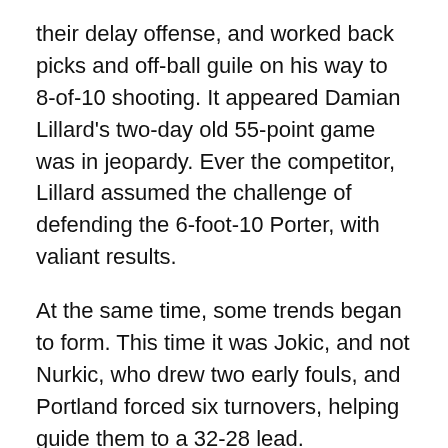their delay offense, and worked back picks and off-ball guile on his way to 8-of-10 shooting. It appeared Damian Lillard's two-day old 55-point game was in jeopardy. Ever the competitor, Lillard assumed the challenge of defending the 6-foot-10 Porter, with valiant results.
At the same time, some trends began to form. This time it was Jokic, and not Nurkic, who drew two early fouls, and Portland forced six turnovers, helping guide them to a 32-28 lead.
Second Quarter
With Lillard sitting, it was imperative for Portland to find ways to hold on to their four-point lead. As is custom when they do so, that meant an abundance of offense from Carmelo Anthony and McCollum. But, instead of